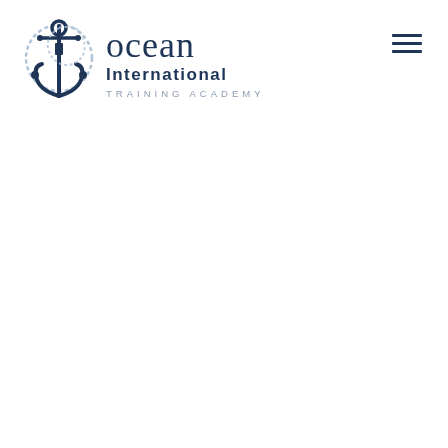[Figure (logo): Ocean International Training Academy logo — an anchor with rope illustration in navy blue on the left, with 'ocean' in large serif text, 'International' in bold sans-serif, and 'TRAINING ACADEMY' in spaced small caps to the right]
[Figure (other): Hamburger menu icon — three horizontal navy blue lines stacked vertically, positioned at top right]